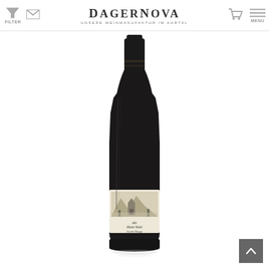DAGERNOVA — UNSERE WEINMANUFAKTUR IM AHRTAL
[Figure (photo): A dark red wine bottle with a black capsule and a white label showing a landscape scene (building and mountains). Label text reads: Ahr, Mann Vasté, Cuvée Rouge.]